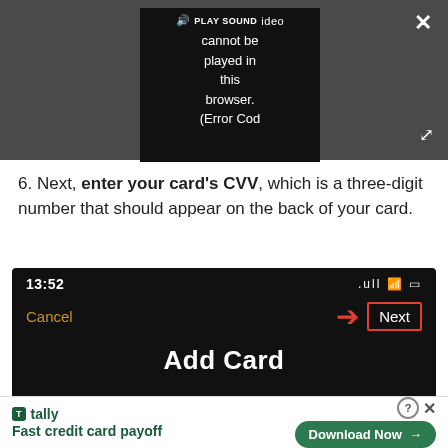[Figure (screenshot): Video player with dark gray background showing error message: 'Video cannot be played in this browser. (Error Cod' with PLAY SOUND label, close X button top right, expand icon bottom right.]
6. Next, enter your card's CVV, which is a three-digit number that should appear on the back of your card.
[Figure (screenshot): Mobile phone screenshot on dark background showing 13:52 time, signal/wifi/battery icons, Cancel text in yellow-orange on left, red arrow pointing right to Next button with red border, and 'Add Card' title text at bottom.]
[Figure (screenshot): Advertisement banner for Tally app: green Tally logo icon, 'tally' brand name, 'Fast credit card payoff' tagline, Download Now green rounded button with arrow, help and close icons.]